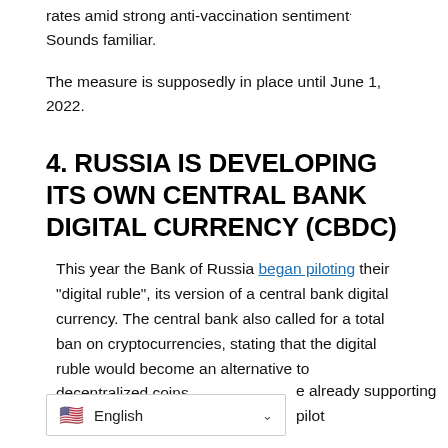rates amid strong anti-vaccination sentiment. Sounds familiar.
The measure is supposedly in place until June 1, 2022.
4. RUSSIA IS DEVELOPING ITS OWN CENTRAL BANK DIGITAL CURRENCY (CBDC)
This year the Bank of Russia began piloting their “digital ruble”, its version of a central bank digital currency. The central bank also called for a total ban on cryptocurrencies, stating that the digital ruble would become an alternative to decentralized coins.
e already supporting pilot